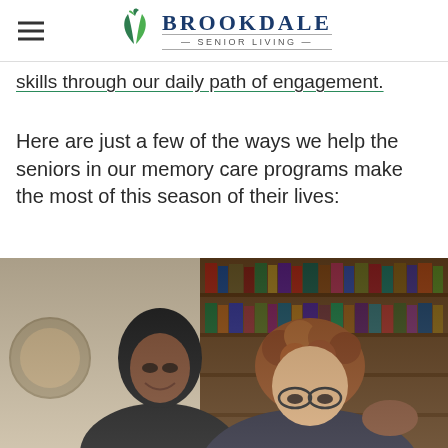Brookdale Senior Living
skills through our daily path of engagement.
Here are just a few of the ways we help the seniors in our memory care programs make the most of this season of their lives:
[Figure (photo): A young Black woman smiling and placing her hand on the shoulder of an elderly woman with curly red hair and glasses, both looking downward, with bookshelves visible in the background.]